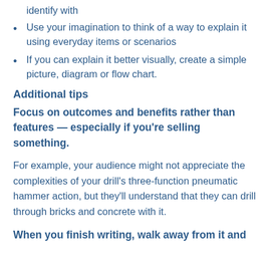identify with
Use your imagination to think of a way to explain it using everyday items or scenarios
If you can explain it better visually, create a simple picture, diagram or flow chart.
Additional tips
Focus on outcomes and benefits rather than features — especially if you're selling something.
For example, your audience might not appreciate the complexities of your drill's three-function pneumatic hammer action, but they'll understand that they can drill through bricks and concrete with it.
When you finish writing, walk away from it and